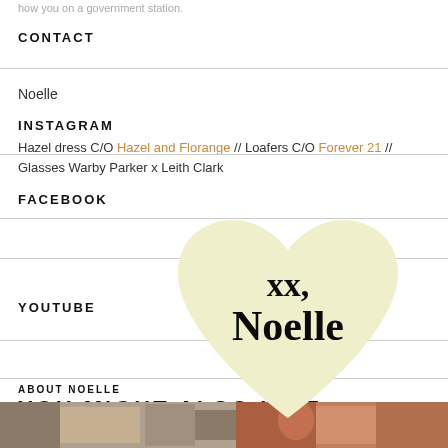how you on a government station.
CONTACT
Noelle
INSTAGRAM
Hazel dress C/O Hazel and Florange // Loafers C/O Forever 21 //
Glasses Warby Parker x Leith Clark
FACEBOOK
[Figure (illustration): Large cream/light yellow heart shape with text 'xx, Noelle' in bold serif font overlaid on the page content]
YOUTUBE
ABOUT NOELLE
YOU MIGHT ALSO LIKE
[Figure (photo): Two thumbnail photos at the bottom of the page - left appears to be a room/interior scene, right appears to be a person in red/warm tones]